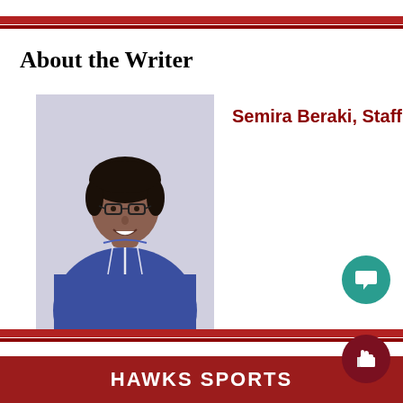About the Writer
[Figure (photo): Portrait photo of Semira Beraki, a young woman wearing glasses and a blue zip-up hoodie, smiling at the camera]
Semira Beraki, Staff
HAWKS SPORTS